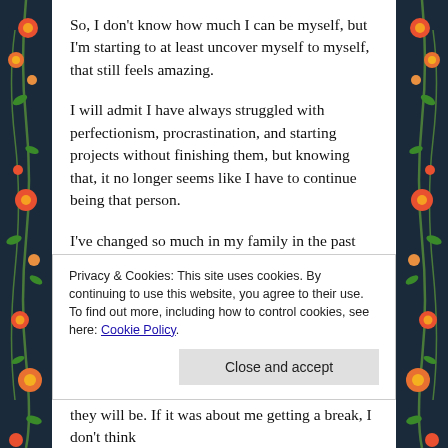So, I don’t know how much I can be myself, but I’m starting to at least uncover myself to myself, that still feels amazing.
I will admit I have always struggled with perfectionism, procrastination, and starting projects without finishing them, but knowing that, it no longer seems like I have to continue being that person.
I’ve changed so much in my family in the past two weeks, it gives me hope for my internal life being able to change as well.
My husband and I are parenting as a team, I didn’t think that
Privacy & Cookies: This site uses cookies. By continuing to use this website, you agree to their use.
To find out more, including how to control cookies, see here: Cookie Policy
Close and accept
they will be. If it was about me getting a break, I don’t think